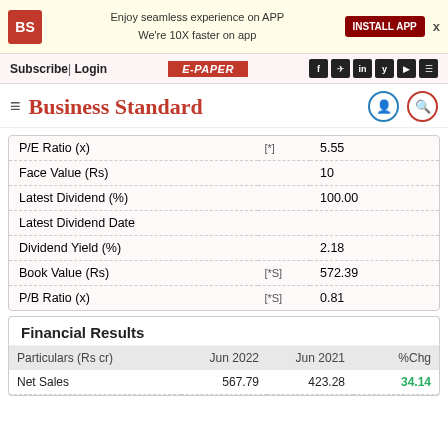Business Standard — Subscribe | Login | E-PAPER
|  |  |  |
| --- | --- | --- |
| P/E Ratio (x) | [*] | 5.55 |
| Face Value (Rs) |  | 10 |
| Latest Dividend (%) |  | 100.00 |
| Latest Dividend Date |  |  |
| Dividend Yield (%) |  | 2.18 |
| Book Value (Rs) | [*S] | 572.39 |
| P/B Ratio (x) | [*S] | 0.81 |
Financial Results
| Particulars (Rs cr) | Jun 2022 | Jun 2021 | %Chg |
| --- | --- | --- | --- |
| Net Sales | 567.79 | 423.28 | 34.14 |